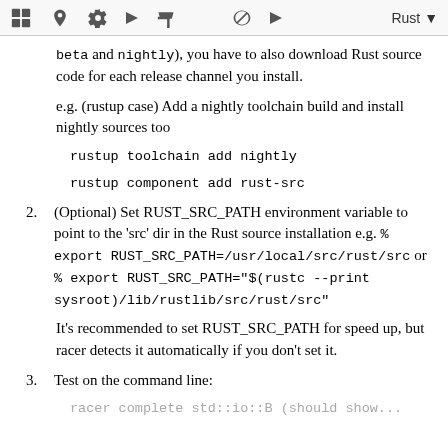[toolbar icons] Rust
beta and nightly), you have to also download Rust source code for each release channel you install.
e.g. (rustup case) Add a nightly toolchain build and install nightly sources too
rustup toolchain add nightly
rustup component add rust-src
2. (Optional) Set RUST_SRC_PATH environment variable to point to the 'src' dir in the Rust source installation e.g. % export RUST_SRC_PATH=/usr/local/src/rust/src or % export RUST_SRC_PATH="$(rustc --print sysroot)/lib/rustlib/src/rust/src"
It's recommended to set RUST_SRC_PATH for speed up, but racer detects it automatically if you don't set it.
3. Test on the command line:
racer complete std::io::B (should show...